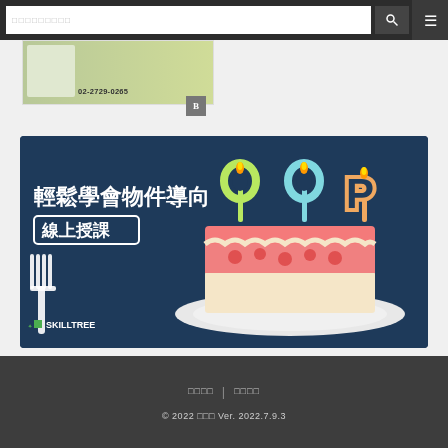Search bar and navigation
[Figure (screenshot): Dalmatian dog advertisement banner with phone number 02-2729-0265 and a B badge icon]
[Figure (illustration): SkillTree OOP online course banner: dark navy background with Chinese text '輕鬆學會物件導向 線上授課' and 'OOP' letters as birthday candles on a cake slice, with a fork on the left and SkillTree logo at bottom left]
□□□□ | □□□□
© 2022 □□□ Ver. 2022.7.9.3